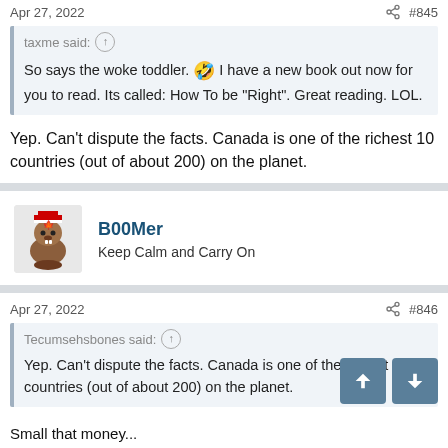Apr 27, 2022   #845
taxme said: ↑
So says the woke toddler. 🤣 I have a new book out now for you to read. Its called: How To be "Right". Great reading. LOL.
Yep. Can't dispute the facts. Canada is one of the richest 10 countries (out of about 200) on the planet.
[Figure (illustration): Forum user avatar: cartoon beaver with Canadian flag hat]
B00Mer
Keep Calm and Carry On
Apr 27, 2022   #846
Tecumsehsbones said: ↑
Yep. Can't dispute the facts. Canada is one of the richest 10 countries (out of about 200) on the planet.
Small that money...